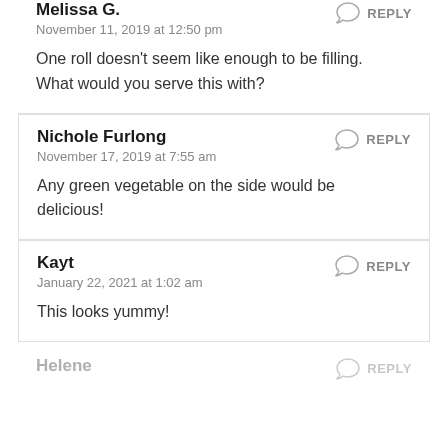Melissa G.
November 11, 2019 at 12:50 pm
One roll doesn't seem like enough to be filling. What would you serve this with?
Nichole Furlong
November 17, 2019 at 7:55 am
Any green vegetable on the side would be delicious!
Kayt
January 22, 2021 at 1:02 am
This looks yummy!
Helene